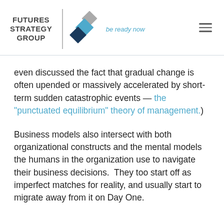FUTURES STRATEGY GROUP | be ready now
even discussed the fact that gradual change is often upended or massively accelerated by short-term sudden catastrophic events — the "punctuated equilibrium" theory of management.)
Business models also intersect with both organizational constructs and the mental models the humans in the organization use to navigate their business decisions.  They too start off as imperfect matches for reality, and usually start to migrate away from it on Day One.